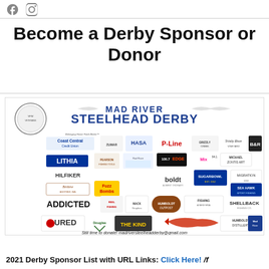Facebook and Instagram social media icons
Become a Derby Sponsor or Donor
[Figure (logo): Mad River Steelhead Derby sponsor logos collage including Coast Central Credit Union, Lithia, Hilfiker, Benbow Historic Inn, ADDICTED, LURED, HASA, P-Line, EDGE 106.7, Mix 94.1, boldt, Fishing A New Era, Shellback, Fuzz Bombs, Mack Graphics, Humboldt Outpost, Trinity River, B&R, Michael Zontis Art, Sugarbowl, Migration, Sea Hawk Sport Fishing, Humboldt Distillery, Mad River, The Kind, Douglas, and others. Text: 'Still time to donate! madriversteelheadderby@gmail.com']
2021 Derby Sponsor List with URL Links: Click Here! /f